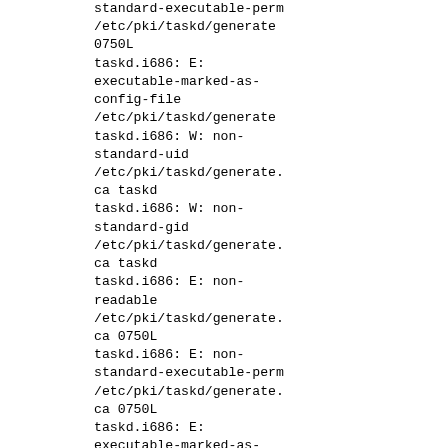standard-executable-perm /etc/pki/taskd/generate 0750L
taskd.i686: E: executable-marked-as-config-file /etc/pki/taskd/generate
taskd.i686: W: non-standard-uid /etc/pki/taskd/generate.ca taskd
taskd.i686: W: non-standard-gid /etc/pki/taskd/generate.ca taskd
taskd.i686: E: non-readable /etc/pki/taskd/generate.ca 0750L
taskd.i686: E: non-standard-executable-perm /etc/pki/taskd/generate.ca 0750L
taskd.i686: E: executable-marked-as-config-file /etc/pki/taskd/generate.ca
taskd.i686: W: non-standard-uid /var/log/taskd.taskd